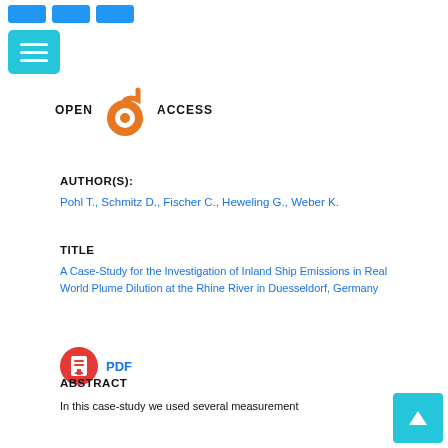[Figure (logo): Open Access logo with orange open-lock icon between OPEN and ACCESS text]
AUTHOR(S):
Pohl T., Schmitz D., Fischer C., Heweling G., Weber K.
TITLE
A Case-Study for the Investigation of Inland Ship Emissions in Real World Plume Dilution at the Rhine River in Duesseldorf, Germany
[Figure (logo): PDF download icon — red circle with document and arrow]
PDF
ABSTRACT
In this case-study we used several measurement